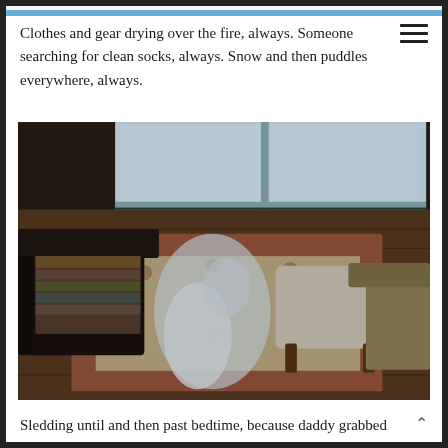Clothes and gear drying over the fire, always. Someone searching for clean socks, always. Snow and then puddles everywhere, always.
[Figure (photo): Interior room with a patterned rug covered in snow/slush on a wooden floor, flanked by a dark leather sofa on the left and a fabric ottoman on the right, with windows in the background.]
Sledding until and then past bedtime, because daddy grabbed helmets and goggles and said let's go to the very top and see how fast we can go.